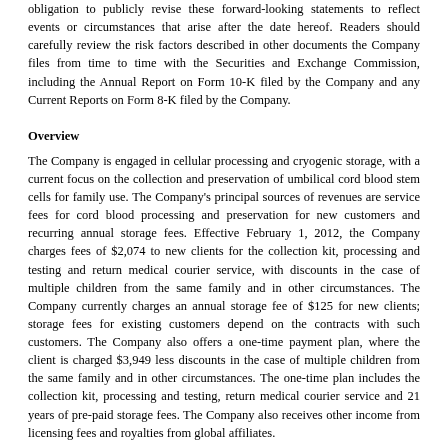obligation to publicly revise these forward-looking statements to reflect events or circumstances that arise after the date hereof. Readers should carefully review the risk factors described in other documents the Company files from time to time with the Securities and Exchange Commission, including the Annual Report on Form 10-K filed by the Company and any Current Reports on Form 8-K filed by the Company.
Overview
The Company is engaged in cellular processing and cryogenic storage, with a current focus on the collection and preservation of umbilical cord blood stem cells for family use. The Company's principal sources of revenues are service fees for cord blood processing and preservation for new customers and recurring annual storage fees. Effective February 1, 2012, the Company charges fees of $2,074 to new clients for the collection kit, processing and testing and return medical courier service, with discounts in the case of multiple children from the same family and in other circumstances. The Company currently charges an annual storage fee of $125 for new clients; storage fees for existing customers depend on the contracts with such customers. The Company also offers a one-time payment plan, where the client is charged $3,949 less discounts in the case of multiple children from the same family and in other circumstances. The one-time plan includes the collection kit, processing and testing, return medical courier service and 21 years of pre-paid storage fees. The Company also receives other income from licensing fees and royalties from global affiliates.
In August 2011, there was a change in control of the Board of Directors. Subsequent to this change, the Company is refocusing its efforts on the Company's umbilical cord blood and cord tissue business.